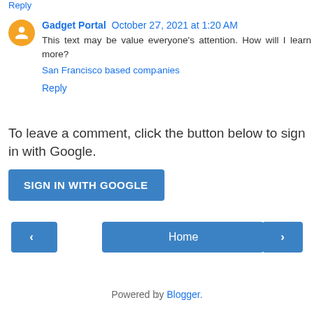Gadget Portal  October 27, 2021 at 1:20 AM
This text may be value everyone's attention. How will I learn more?
San Francisco based companies
Reply
To leave a comment, click the button below to sign in with Google.
SIGN IN WITH GOOGLE
< Home > View web version Powered by Blogger.